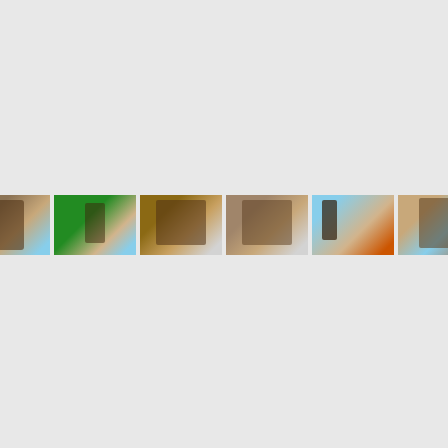[Figure (screenshot): Image carousel/gallery showing 6 thumbnail photos of stone/masonry structures and outdoor landscaping features, with left and right navigation arrow buttons on either side]
Free Estimates!
We're ready to serve you. Contact us today for a free estimate.